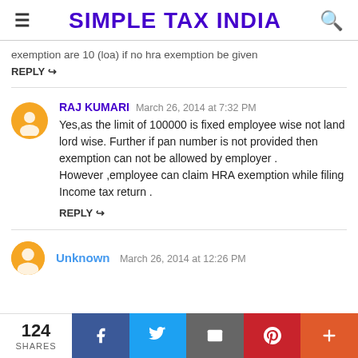SIMPLE TAX INDIA
exemption are 10 (loa) if no hra exemption be given
REPLY
RAJ KUMARI March 26, 2014 at 7:32 PM
Yes,as the limit of 100000 is fixed employee wise not land lord wise. Further if pan number is not provided then exemption can not be allowed by employer .
However ,employee can claim HRA exemption while filing Income tax return .
REPLY
Unknown March 26, 2014 at 12:26 PM
124 SHARES